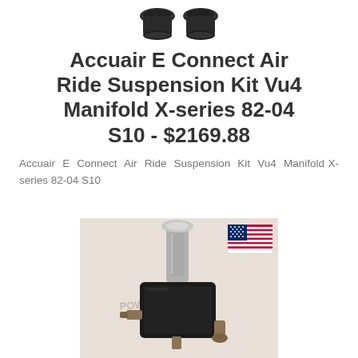[Figure (photo): Two black rubber air bag/spring components shown from above]
Accuair E Connect Air Ride Suspension Kit Vu4 Manifold X-series 82-04 S10 - $2169.88
Accuair E Connect Air Ride Suspension Kit Vu4 Manifold X-series 82-04 S10
[Figure (photo): Product photo of an air ride suspension component (manifold/valve block) with fittings, watermark POWERTOOL2016, and a US flag in the upper right corner]